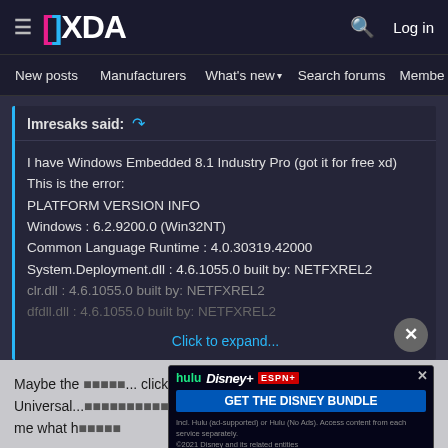XDA Forums — hamburger menu, XDA logo, search icon, Log in
New posts | Manufacturers | What's new | Search forums | Membe >
Imresaks said: [reply icon]
I have Windows Embedded 8.1 Industry Pro (got it for free xd)
This is the error:
PLATFORM VERSION INFO
Windows : 6.2.9200.0 (Win32NT)
Common Language Runtime : 4.0.30319.42000
System.Deployment.dll : 4.6.1055.0 built by: NETFXREL2
clr.dll : 4.6.1055.0 built by: NETFXREL2
dfdll.dll : 4.6.1055.0 built by: NETFXREL2
Click to expand...
Maybe the ... click on Universal... .exe. Tell me what h...
[Figure (screenshot): Hulu Disney+ ESPN+ advertisement banner: GET THE DISNEY BUNDLE. Incl. Hulu (ad-supported) or Hulu (No Ads). Access content from each service separately. ©2021 Disney and its related entities]